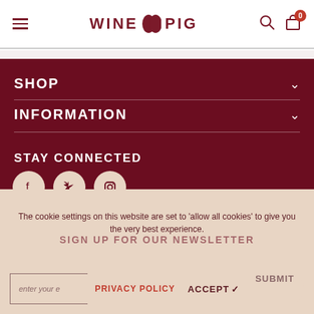WINE PIG
SHOP
INFORMATION
STAY CONNECTED
[Figure (other): Social media icons: Facebook, Twitter, Instagram]
SIGN UP FOR OUR NEWSLETTER
The cookie settings on this website are set to 'allow all cookies' to give you the very best experience.
enter your email address
PRIVACY POLICY
ACCEPT ✓
SUBMIT